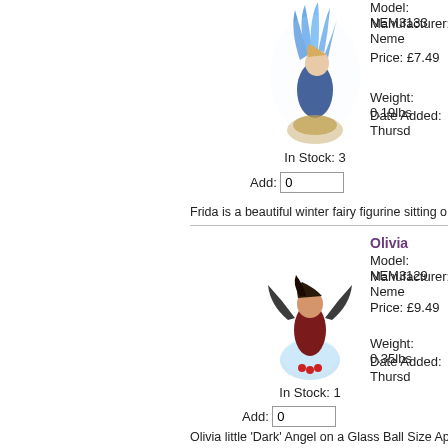[Figure (illustration): Fantasy figurine of Frida, a winter fairy sitting]
Model: NEM3133
Manufacturer: Neme
Price: £7.49
Weight: 0.19lbs
Date Added: Thursd
In Stock: 3
Add: 0
Frida is a beautiful winter fairy figurine sitting o
[Figure (illustration): Fantasy figurine of Olivia, a dark angel on a glass ball]
Olivia
Model: NEM3129
Manufacturer: Neme
Price: £9.49
Weight: 0.35lbs
Date Added: Thursd
In Stock: 1
Add: 0
Olivia little 'Dark' Angel on a Glass Ball Size Ap
Displaying 1 to 10 (of 361 new products)
Ho
Copyright © 2022 Gothic Pieces. Powered by ZC | Design b